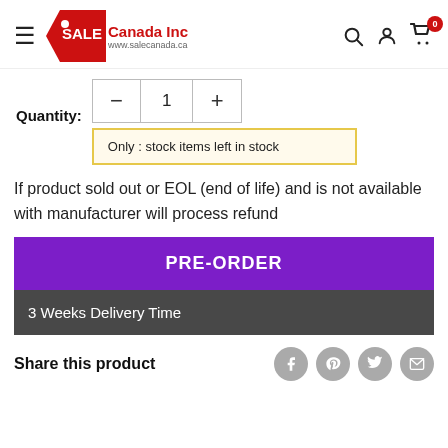[Figure (logo): Sale Canada Inc logo with red price-tag shape and website url www.salecanada.ca]
Quantity:
Only : stock items left in stock
If product sold out or EOL (end of life) and is not available with manufacturer will process refund
PRE-ORDER
3 Weeks Delivery Time
Share this product